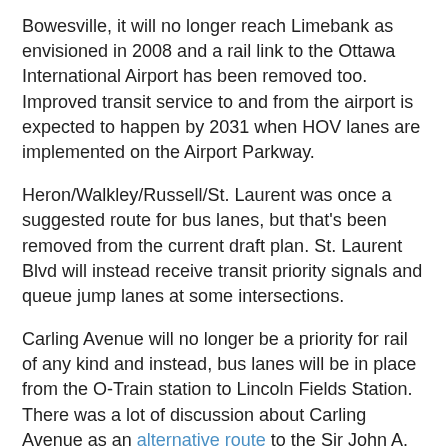Bowesville, it will no longer reach Limebank as envisioned in 2008 and a rail link to the Ottawa International Airport has been removed too. Improved transit service to and from the airport is expected to happen by 2031 when HOV lanes are implemented on the Airport Parkway.
Heron/Walkley/Russell/St. Laurent was once a suggested route for bus lanes, but that's been removed from the current draft plan. St. Laurent Blvd will instead receive transit priority signals and queue jump lanes at some intersections.
Carling Avenue will no longer be a priority for rail of any kind and instead, bus lanes will be in place from the O-Train station to Lincoln Fields Station. There was a lot of discussion about Carling Avenue as an alternative route to the Sir John A. MacDonald Parkway for light rail. Or perhaps, the corridor would be served by a tram or streetcar of some sort with more local stops. For the next two decades though, it's strictly buses.
A Transitway linking Baseline Station to the Barrhaven Transitway will have to wait after 2031.